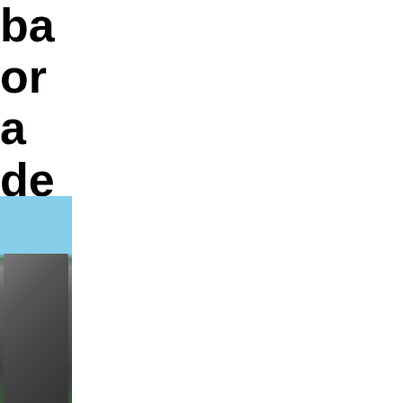ba or a de
[Figure (photo): A photo of cars in a parking lot or dealership with green grass and blue sky visible. The image is partially cropped showing only a narrow left strip.]
You fou the veh you wa but no you ha to ma